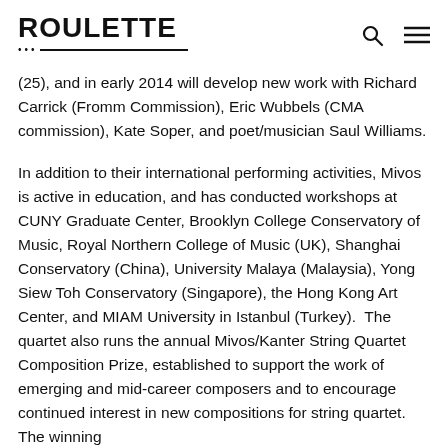ROULETTE
(25), and in early 2014 will develop new work with Richard Carrick (Fromm Commission), Eric Wubbels (CMA commission), Kate Soper, and poet/musician Saul Williams.
In addition to their international performing activities, Mivos is active in education, and has conducted workshops at CUNY Graduate Center, Brooklyn College Conservatory of Music, Royal Northern College of Music (UK), Shanghai Conservatory (China), University Malaya (Malaysia), Yong Siew Toh Conservatory (Singapore), the Hong Kong Art Center, and MIAM University in Istanbul (Turkey).  The quartet also runs the annual Mivos/Kanter String Quartet Composition Prize, established to support the work of emerging and mid-career composers and to encourage continued interest in new compositions for string quartet. The winning